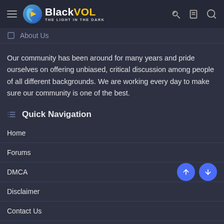BlackVOL — THE LIGHT IN THE DARK
About Us
Our community has been around for many years and pride ourselves on offering unbiased, critical discussion among people of all different backgrounds. We are working every day to make sure our community is one of the best.
Quick Navigation
Home
Forums
DMCA
Disclaimer
Contact Us